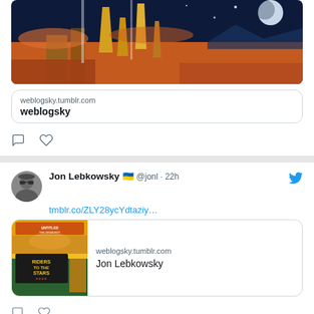[Figure (screenshot): Partial Twitter/social media feed showing top of a tweet with a sci-fi artwork image and link preview for weblogsky.tumblr.com]
weblogsky.tumblr.com
weblogsky
[Figure (screenshot): Tweet by Jon Lebkowsky with Ukraine flag emoji, handle @jonl, posted 22h ago. Contains link tmblr.co/ZLY28ycYdtaziy... and link preview card for weblogsky.tumblr.com showing 'Jon Lebkowsky' with Riders to the Stars movie poster image.]
Jon Lebkowsky 🇺🇦 @jonl · 22h
tmblr.co/ZLY28ycYdtaziy...
weblogsky.tumblr.com
Jon Lebkowsky